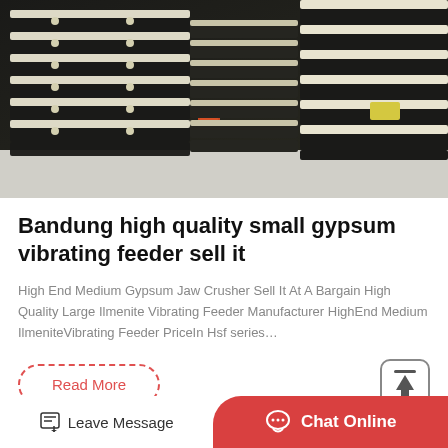[Figure (photo): Stacked rows of black and cream industrial vibrating feeder trays/equipment arranged in a warehouse setting]
Bandung high quality small gypsum vibrating feeder sell it
High End Medium Gypsum Jaw Crusher Sell It At A Bargain High Quality Large Ilmenite Vibrating Feeder Manufacturer HighEnd Medium IlmeniteVibrating Feeder PriceIn Hsf series…
Read More
Leave Message
Chat Online